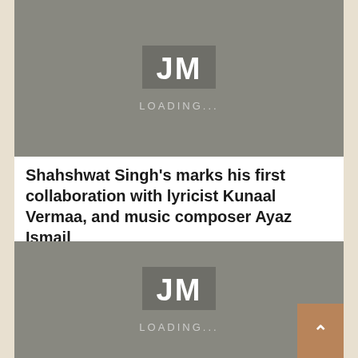[Figure (screenshot): Gray loading placeholder with JM logo (white letters on darker gray background) and LOADING... text below]
Shahshwat Singh's marks his first collaboration with lyricist Kunaal Vermaa, and music composer Ayaz Ismail
[Figure (screenshot): Gray loading placeholder with JM logo (white letters on darker gray background) and LOADING... text below, with a tan/brown scroll-to-top button overlay on the right]